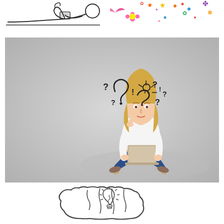[Figure (illustration): Line drawing illustration of a person lying down reading or studying, with a horizontal line beneath them]
[Figure (illustration): Colorful decorative clipart with flowers, stars, and festive elements in pink, yellow, blue, and other colors]
[Figure (photo): Photograph of a young woman sitting cross-legged on a chair holding a laptop computer, with doodles of question marks and a light bulb above her head, suggesting thinking or questioning, gray background]
[Figure (illustration): Line drawing of a brain outline with a light bulb inside it and radiating lines suggesting ideas or illumination]